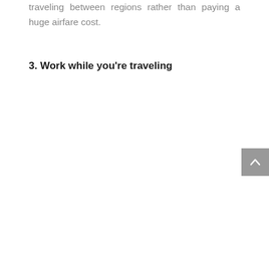traveling between regions rather than paying a huge airfare cost.
3. Work while you're traveling